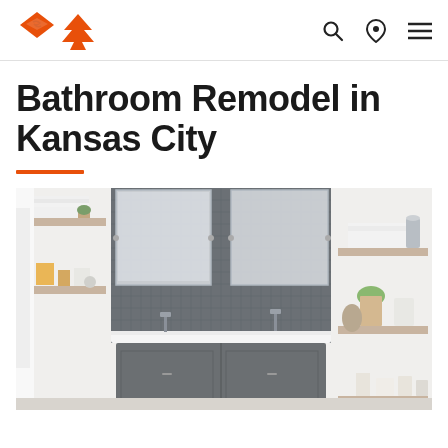Logo and navigation icons (search, location, menu)
Bathroom Remodel in Kansas City
[Figure (photo): Modern bathroom remodel showing a double sink vanity with gray cabinet, dark tile backsplash, large mirrors, and open shelving on both sides with white towels, small plants, and decorative items on wooden shelves.]